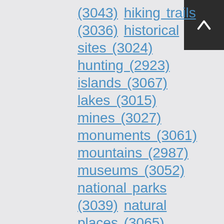(3043) hiking trails (3036) historical sites (3024) hunting (2923) islands (3067) lakes (3015) mines (3027) monuments (3061) mountains (2987) museums (3052) national parks (3039) natural places (3065) nature (3072) nature reserves (3015) off-road trails (2912)